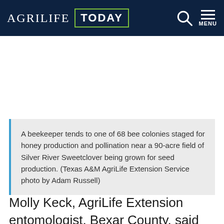AgriLife TODAY
A beekeeper tends to one of 68 bee colonies staged for honey production and pollination near a 90-acre field of Silver River Sweetclover being grown for seed production. (Texas A&M AgriLife Extension Service photo by Adam Russell)
Molly Keck, AgriLife Extension entomologist, Bexar County, said Texas beekeeping falls